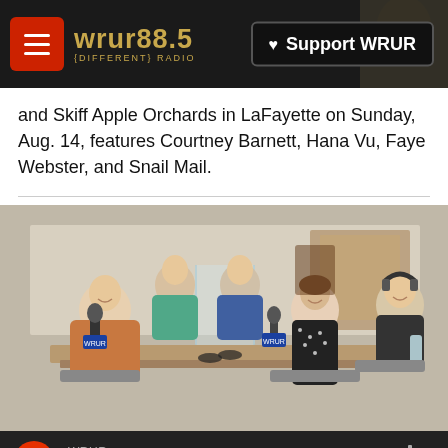WRUR 88.5 {DIFFERENT} RADIO — Support WRUR
and Skiff Apple Orchards in LaFayette on Sunday, Aug. 14, features Courtney Barnett, Hana Vu, Faye Webster, and Snail Mail.
[Figure (photo): Group photo in a radio studio: five people seated around a table with microphones and WRUR mic flags. A plexiglass divider separates some participants. One man in a plaid shirt sits at front left, a woman in a black patterned dress sits at front center-right, a man with headphones sits at far right, a woman in teal top sits behind at left, and a woman in blue jacket sits behind at center.]
WRUR — All Things Considered